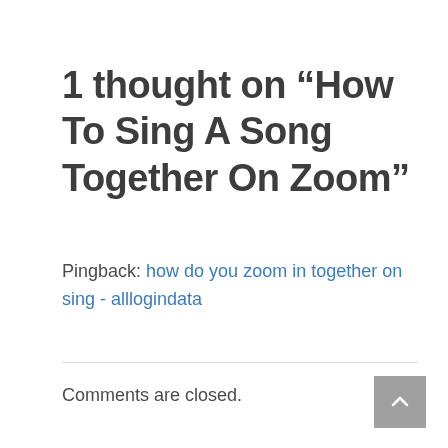1 thought on “How To Sing A Song Together On Zoom”
Pingback: how do you zoom in together on sing - alllogindata
Comments are closed.